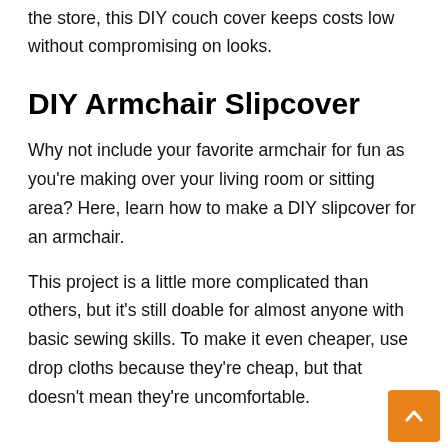the store, this DIY couch cover keeps costs low without compromising on looks.
DIY Armchair Slipcover
Why not include your favorite armchair for fun as you're making over your living room or sitting area? Here, learn how to make a DIY slipcover for an armchair.
This project is a little more complicated than others, but it's still doable for almost anyone with basic sewing skills. To make it even cheaper, use drop cloths because they're cheap, but that doesn't mean they're uncomfortable.